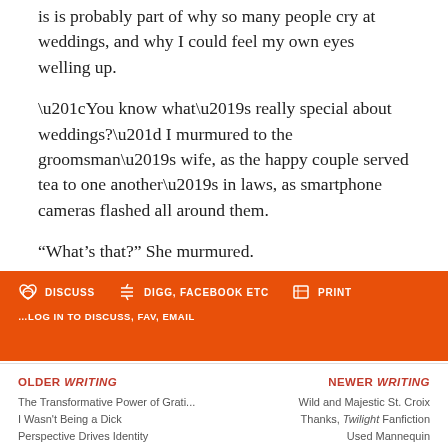is is probably part of why so many people cry at weddings, and why I could feel my own eyes welling up.
“You know what’s really special about weddings?” I murmured to the groomsman’s wife, as the happy couple served tea to one another’s in laws, as smartphone cameras flashed all around them.
“What’s that?” She murmured.
“There’s just so much hope,” I replied.
DISCUSS  DIGG, FACEBOOK ETC  PRINT  ...LOG IN TO DISCUSS, FAV, EMAIL
OLDER WRITING  The Transformative Power of Grati...  I Wasn't Being a Dick  Perspective Drives Identity  NEWER WRITING  Wild and Majestic St. Croix  Thanks, Twilight Fanfiction  Used Mannequin